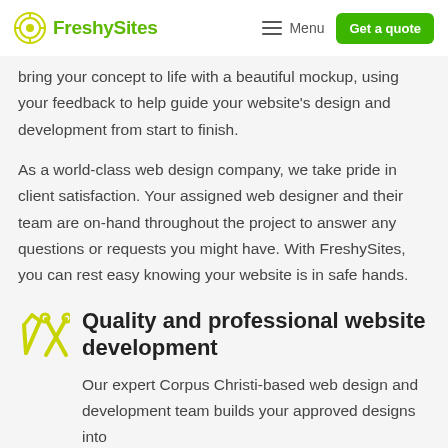FreshySites  Menu  Get a quote
bring your concept to life with a beautiful mockup, using your feedback to help guide your website's design and development from start to finish.

As a world-class web design company, we take pride in client satisfaction. Your assigned web designer and their team are on-hand throughout the project to answer any questions or requests you might have. With FreshySites, you can rest easy knowing your website is in safe hands.
Quality and professional website development
Our expert Corpus Christi-based web design and development team builds your approved designs into